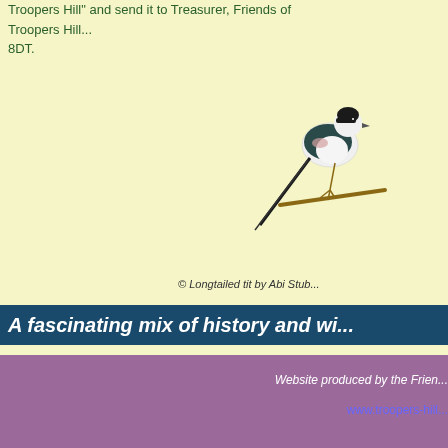Troopers Hill" and send it to Treasurer, Friends of Troopers Hill... 8DT.
[Figure (illustration): Illustration of a long-tailed tit bird perched on a branch, showing black, white and pink plumage with a very long tail.]
© Longtailed tit by Abi Stub...
A fascinating mix of history and wi...
Website produced by the Frien...
www.troopers-hill...